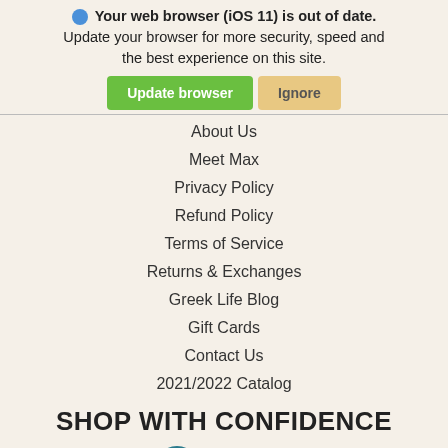Your web browser (iOS 11) is out of date. Update your browser for more security, speed and the best experience on this site.
Update browser | Ignore
About Us
Meet Max
Privacy Policy
Refund Policy
Terms of Service
Returns & Exchanges
Greek Life Blog
Gift Cards
Contact Us
2021/2022 Catalog
SHOP WITH CONFIDENCE
[Figure (illustration): Lock icon (secure), thumbs up icon, and back-to-top chevron button in teal/dark teal colors]